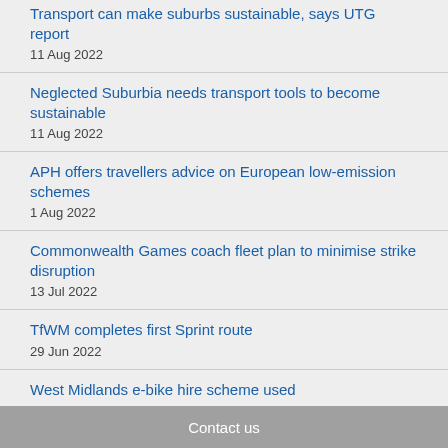Transport can make suburbs sustainable, says UTG report
11 Aug 2022
Neglected Suburbia needs transport tools to become sustainable
11 Aug 2022
APH offers travellers advice on European low-emission schemes
1 Aug 2022
Commonwealth Games coach fleet plan to minimise strike disruption
13 Jul 2022
TfWM completes first Sprint route
29 Jun 2022
West Midlands e-bike hire scheme used
Contact us